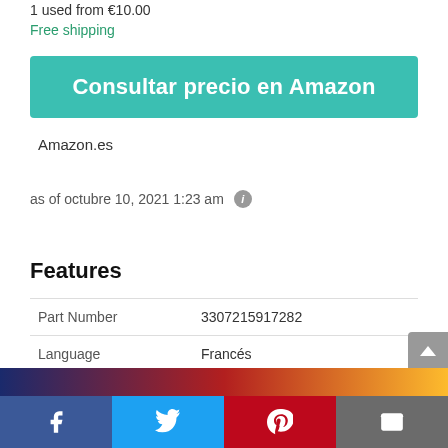1 used from €10.00
Free shipping
Consultar precio en Amazon
Amazon.es
as of octubre 10, 2021 1:23 am
Features
|  |  |
| --- | --- |
| Part Number | 3307215917282 |
| Language | Francés |